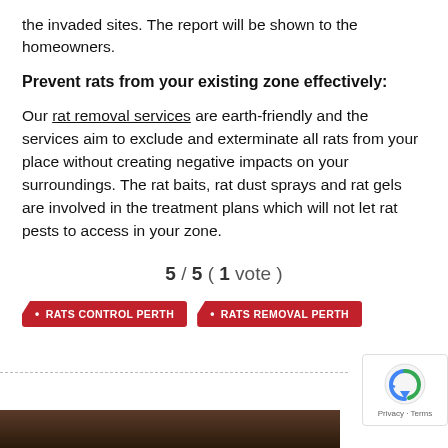the invaded sites. The report will be shown to the homeowners.
Prevent rats from your existing zone effectively:
Our rat removal services are earth-friendly and the services aim to exclude and exterminate all rats from your place without creating negative impacts on your surroundings. The rat baits, rat dust sprays and rat gels are involved in the treatment plans which will not let rat pests to access in your zone.
5 / 5 ( 1 vote )
RATS CONTROL PERTH
RATS REMOVAL PERTH